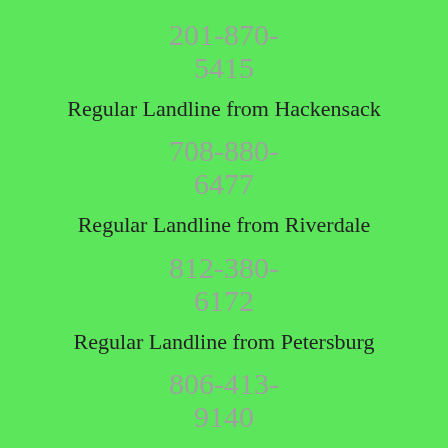201-870-5415
Regular Landline from Hackensack
708-880-6477
Regular Landline from Riverdale
812-380-6172
Regular Landline from Petersburg
806-413-9140
Regular Landline from Farwell
619-322-